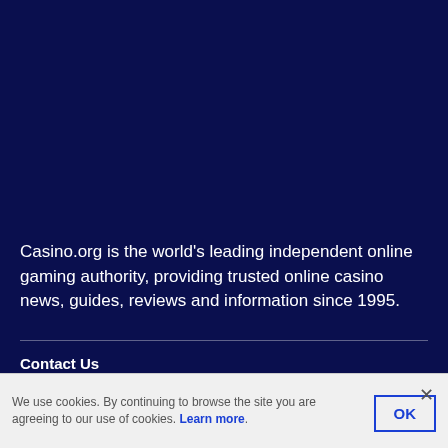Casino.org is the world's leading independent online gaming authority, providing trusted online casino news, guides, reviews and information since 1995.
Contact Us
Get Listed
We use cookies. By continuing to browse the site you are agreeing to our use of cookies. Learn more.